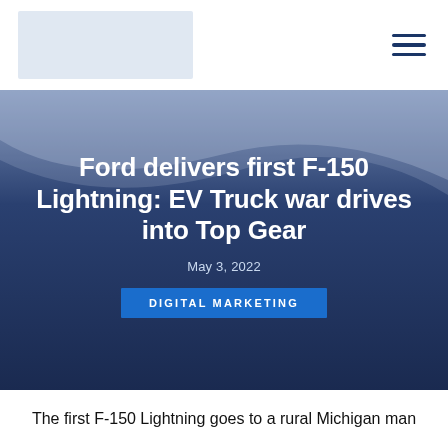[Figure (logo): Website logo placeholder box in light blue-grey]
[Figure (illustration): Hamburger menu icon with three horizontal dark blue lines]
[Figure (illustration): Dark blue gradient hero banner with diagonal wave shape, white centered text]
Ford delivers first F-150 Lightning: EV Truck war drives into Top Gear
May 3, 2022
DIGITAL MARKETING
The first F-150 Lightning goes to a rural Michigan man